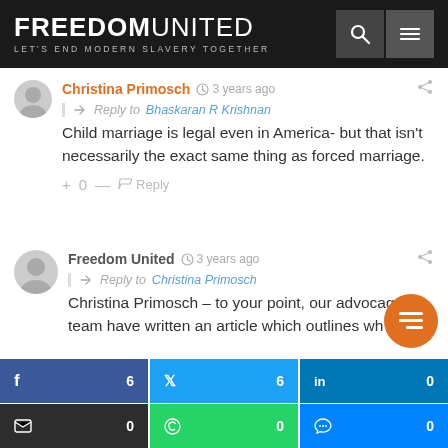FREEDOM UNITED — LET'S END MODERN SLAVERY TOGETHER
Christina Primosch  3 years ago
Reply to Bhaskaran R Krishnan
Child marriage is legal even in America- but that isn't necessarily the exact same thing as forced marriage.
+ 0 —  Reply
Freedom United  3 years ago
Reply to Christina Primosch
Christina Primosch – to your point, our advocacy team have written an article which outlines wh…